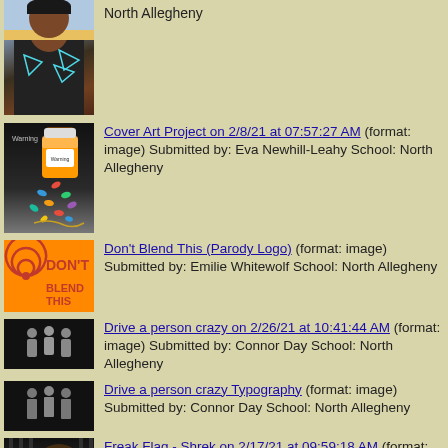[Figure (photo): Partial photo of a person wearing dark shirt with origami arrows, beach background]
North Allegheny
[Figure (illustration): Cover art showing pill bottle spilling colorful pills on dark background]
Cover Art Project on 2/8/21 at 07:57:27 AM (format: image) Submitted by: Eva Newhill-Leahy School: North Allegheny
[Figure (logo): Don't Blend This parody logo with red spiral and orange text]
Don't Blend This (Parody Logo) (format: image) Submitted by: Emilie Whitewolf School: North Allegheny
[Figure (illustration): Dark image with three human silhouettes]
Drive a person crazy on 2/26/21 at 10:41:44 AM (format: image) Submitted by: Connor Day School: North Allegheny
[Figure (illustration): Dark image with three human silhouettes typography style]
Drive a person crazy Typography (format: image) Submitted by: Connor Day School: North Allegheny
[Figure (illustration): Freak Flag Shrek themed image with bars and orange glow]
Freak Flag - Shrek on 2/17/21 at 09:59:18 AM (format: image) Submitted by: Eva Newhill-